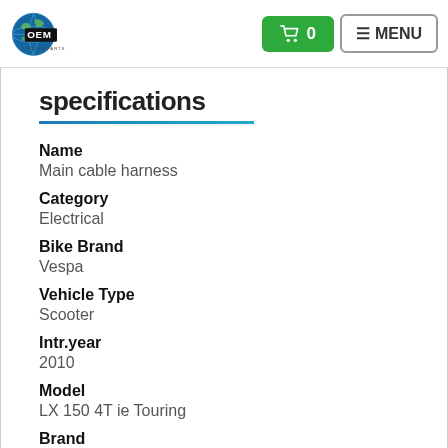OEM Motorparts — Cart 0 — MENU
specifications
Name
Main cable harness
Category
Electrical
Bike Brand
Vespa
Vehicle Type
Scooter
Intr.year
2010
Model
LX 150 4T ie Touring
Brand